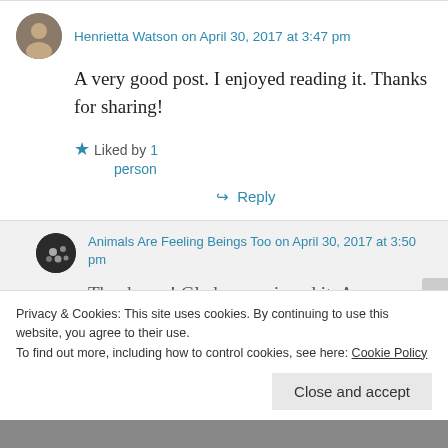Henrietta Watson on April 30, 2017 at 3:47 pm
A very good post. I enjoyed reading it. Thanks for sharing!
★ Liked by 1 person
↳ Reply
Animals Are Feeling Beings Too on April 30, 2017 at 3:50 pm
Thank you! Glad you enjoyed it. Are
Privacy & Cookies: This site uses cookies. By continuing to use this website, you agree to their use.
To find out more, including how to control cookies, see here: Cookie Policy
Close and accept